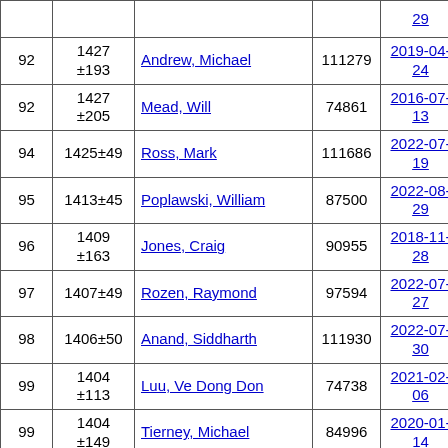| Rank | Score | Name | ID | Date |
| --- | --- | --- | --- | --- |
| 92 | 1427 ±193 | Andrew, Michael | 111279 | 2019-04-24 |
| 92 | 1427 ±205 | Mead, Will | 74861 | 2016-07-13 |
| 94 | 1425±49 | Ross, Mark | 111686 | 2022-07-19 |
| 95 | 1413±45 | Poplawski, William | 87500 | 2022-08-29 |
| 96 | 1409 ±163 | Jones, Craig | 90955 | 2018-11-28 |
| 97 | 1407±49 | Rozen, Raymond | 97594 | 2022-07-27 |
| 98 | 1406±50 | Anand, Siddharth | 111930 | 2022-07-30 |
| 99 | 1404 ±113 | Luu, Ve Dong Don | 74738 | 2021-02-06 |
| 99 | 1404 ±149 | Tierney, Michael | 84996 | 2020-01-14 |
| 101 | 1402 ±185 | Crockart, James | 90695 | 2017-07-26 |